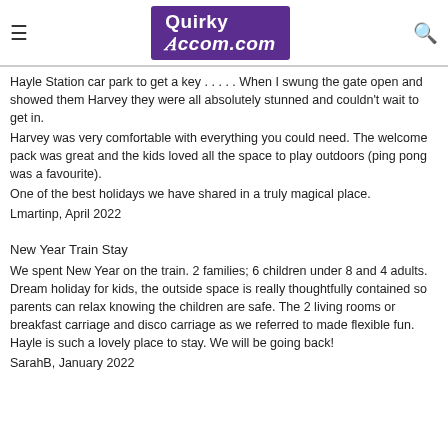QuirkyAccom.com
Hayle Station car park to get a key . . . . . When I swung the gate open and showed them Harvey they were all absolutely stunned and couldn't wait to get in.
Harvey was very comfortable with everything you could need. The welcome pack was great and the kids loved all the space to play outdoors (ping pong was a favourite).
One of the best holidays we have shared in a truly magical place.
Lmartinp, April 2022
New Year Train Stay
We spent New Year on the train. 2 families; 6 children under 8 and 4 adults. Dream holiday for kids, the outside space is really thoughtfully contained so parents can relax knowing the children are safe. The 2 living rooms or breakfast carriage and disco carriage as we referred to made flexible fun. Hayle is such a lovely place to stay. We will be going back!
SarahB, January 2022